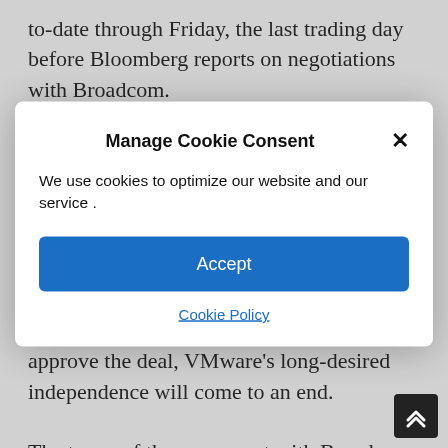to-date through Friday, the last trading day before Bloomberg reports on negotiations with Broadcom.
Brad Zelnick, an analyst at Deutsche Bank, said VMware has lost its luster with public investors
[Figure (screenshot): Cookie consent dialog overlay with title 'Manage Cookie Consent', body text 'We use cookies to optimize our website and our service .', an Accept button, and a Cookie Policy link. An X close button appears in the top right corner of the dialog.]
suitors. If shareholders and regulators approve the deal, VMware's long-desired independence will come to an end.
The terms of the agreement with Broadcom includ a "go-shop" period, which gives VMware